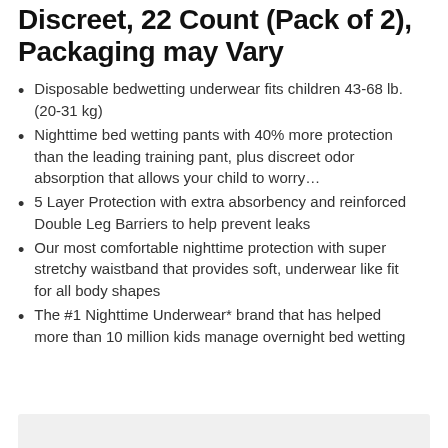Discreet, 22 Count (Pack of 2), Packaging may Vary
Disposable bedwetting underwear fits children 43-68 lb. (20-31 kg)
Nighttime bed wetting pants with 40% more protection than the leading training pant, plus discreet odor absorption that allows your child to worry…
5 Layer Protection with extra absorbency and reinforced Double Leg Barriers to help prevent leaks
Our most comfortable nighttime protection with super stretchy waistband that provides soft, underwear like fit for all body shapes
The #1 Nighttime Underwear* brand that has helped more than 10 million kids manage overnight bed wetting